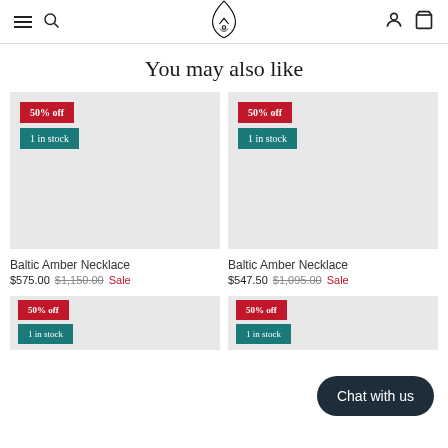Navigation header with menu, search, logo, account, and cart icons
You may also like
[Figure (photo): Product image placeholder for Baltic Amber Necklace with 50% off badge and 1 in stock badge]
Baltic Amber Necklace $575.00 $1,150.00 Sale
[Figure (photo): Product image placeholder for Baltic Amber Necklace with 50% off badge and 1 in stock badge]
Baltic Amber Necklace $547.50 $1,095.00 Sale
[Figure (photo): Partial product image placeholder with 50% off badge and 1 in stock badge]
[Figure (photo): Partial product image placeholder with 50% off badge and 1 in stock badge]